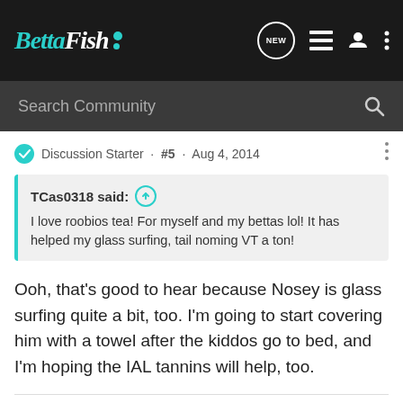[Figure (screenshot): BettaFish community forum navigation bar with logo, NEW badge, list icon, profile icon, and more options icon]
[Figure (screenshot): Search Community input bar with magnifying glass icon]
Discussion Starter · #5 · Aug 4, 2014
TCas0318 said: ↑ I love roobios tea! For myself and my bettas lol! It has helped my glass surfing, tail noming VT a ton!
Ooh, that's good to hear because Nosey is glass surfing quite a bit, too. I'm going to start covering him with a towel after the kiddos go to bed, and I'm hoping the IAL tannins will help, too.
My family: Hubby, Bug (10-year-old daughter), Pearl (7-year-old daughter) & Slash (multi-color King), and Nosey (DeT Dragon) ~*~